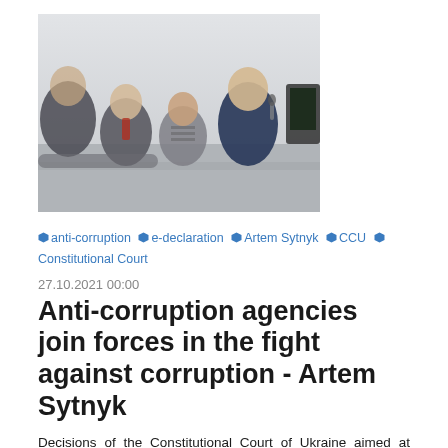[Figure (photo): Panel discussion photo: several people seated at a table, a man in a dark suit speaking with a microphone, others listening]
anti-corruption  e-declaration  Artem Sytnyk  CCU  Constitutional Court
27.10.2021 00:00
Anti-corruption agencies join forces in the fight against corruption - Artem Sytnyk
Decisions of the Constitutional Court of Ukraine aimed at decriminalizing the articles on e-declaration and illicit enrichment dealt a serious blow to anti-corruption reform, but failed to stop it. This was stated by NABU Director Artem Sytnyk at the Discussion "Constitutional crisis in Ukraine: a year later" attended, inter alia, by